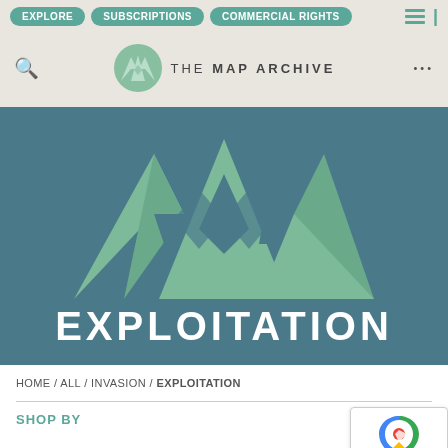EXPLORE | SUBSCRIPTIONS | COMMERCIAL RIGHTS
[Figure (logo): The Map Archive logo — circular green badge with stylized MMM mountain chevron mark, beside text 'THE MAP ARCHIVE']
[Figure (logo): Hero banner with large green MMM mountain logo on teal/dark blue background, with text 'EXPLOITATION' in white below]
HOME / ALL / INVASION / EXPLOITATION
SHOP BY